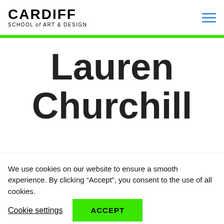CARDIFF SCHOOL of ART & DESIGN
Lauren Churchill
We use cookies on our website to ensure a smooth experience. By clicking “Accept”, you consent to the use of all cookies.
Cookie settings | ACCEPT